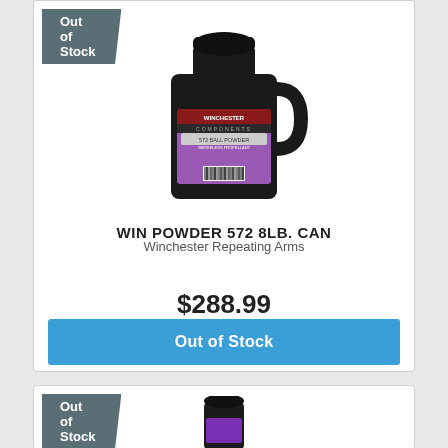[Figure (photo): Out of Stock banner on product card for WIN POWDER 572 8LB. CAN]
[Figure (photo): Black jug of Winchester 572 Ball Powder 8lb can with purple label]
WIN POWDER 572 8LB. CAN
Winchester Repeating Arms
$288.99
Out of Stock
[Figure (photo): Second product card with Out of Stock banner and partial image of a black bottle with purple label]